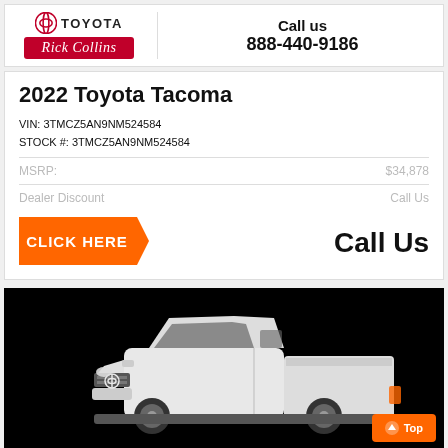[Figure (logo): Toyota Rick Collins dealership logo with Toyota emblem and red Rick Collins script banner]
Call us
888-440-9186
2022 Toyota Tacoma
VIN: 3TMCZ5AN9NM524584
STOCK #: 3TMCZ5AN9NM524584
| MSRP: | $34,878 |
| Dealer Discount | Call Us |
[Figure (illustration): Orange parallelogram CLICK HERE button]
Call Us
[Figure (photo): White 2022 Toyota Tacoma pickup truck on black background with orange Top button in bottom right corner]